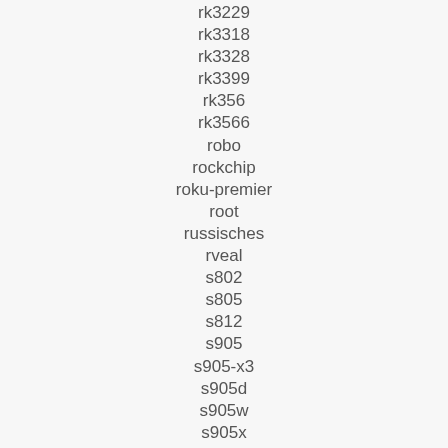rk3229
rk3318
rk3328
rk3399
rk356
rk3566
robo
rockchip
roku-premier
root
russisches
rveal
s802
s805
s812
s905
s905-x3
s905d
s905w
s905x
s905x2